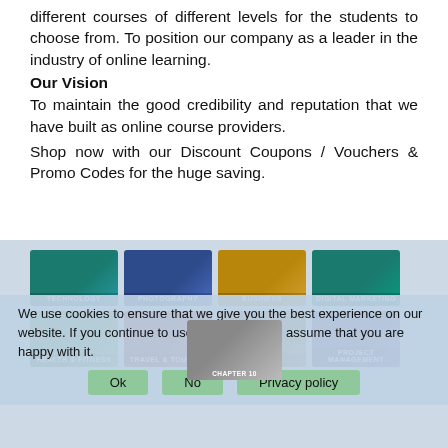different courses of different levels for the students to choose from. To position our company as a leader in the industry of online learning.
Our Vision
To maintain the good credibility and reputation that we have built as online course providers.
Shop now with our Discount Coupons / Vouchers & Promo Codes for the huge saving.
[Figure (illustration): Grid of 8 online course category tiles: Technology, Photography, Business, Digital Marketing (top row); Health & Fitness, Travel & Tourism, Creative, Project Management (bottom row), with a cookie consent overlay.]
We use cookies to ensure that we give you the best experience on our website. If you continue to use this site we will assume that you are happy with it.